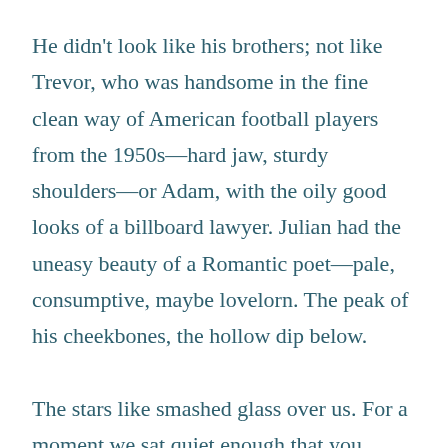He didn't look like his brothers; not like Trevor, who was handsome in the fine clean way of American football players from the 1950s—hard jaw, sturdy shoulders—or Adam, with the oily good looks of a billboard lawyer. Julian had the uneasy beauty of a Romantic poet—pale, consumptive, maybe lovelorn. The peak of his cheekbones, the hollow dip below.
The stars like smashed glass over us. For a moment we sat quiet enough that you could hear the sound of the freighters, down on the Detroit River. The slow heavy roll of it in us.